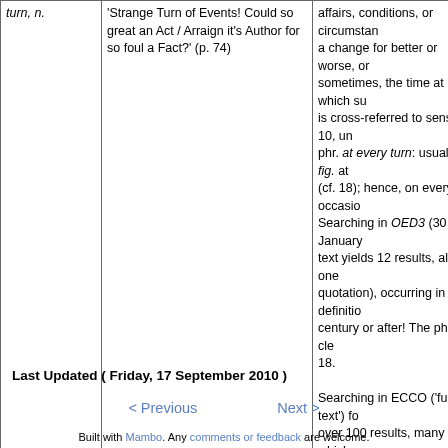|  |  |  |
| --- | --- | --- |
| turn, n. | 'Strange Turn of Events! Could so great an Act / Arraign it's Author for so foul a Fact?' (p. 74) | affairs, conditions, or circumstances; a change for better or worse, or sometimes, the time at which such is cross-referred to sense 10, un... phr. at every turn: usually fig. at (cf. 18); hence, on every occasion. Searching in OED3 (30 January... text yields 12 results, all but one quotation), occurring in definition century or after! The phrase clea... 18.

Searching in ECCO ('full text') fo... over 100 results, many of which However, George Stanhope, A P... the Epistles and Gospels (1705-... same phrase: 'by a Turn of Even... Prerogative it is to bring Good o... Adam's usage. |
Last Updated ( Friday, 17 September 2010 )
< Previous   Next >
Built with Mambo. Any comments or feedback are welcome. All responsibility for views and data published on this site is that of the author, Charlotte Brewer.